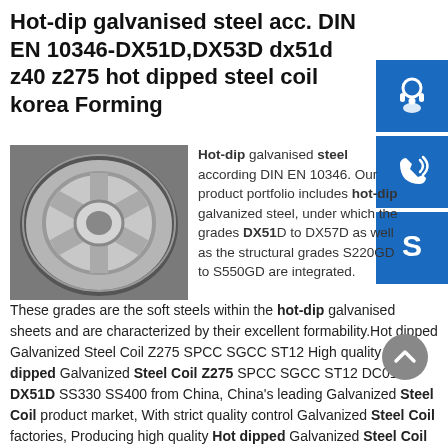Hot-dip galvanised steel acc. DIN EN 10346-DX51D,DX53D dx51d z40 z275 hot dipped steel coil korea Forming
[Figure (photo): Photo of a hot-dip galvanised steel coil reel, silver-grey metallic appearance, viewed from above at slight angle on dark surface]
Hot-dip galvanised steel according DIN EN 10346. Our product portfolio includes hot-dip galvanized steel, under which the grades DX51D to DX57D as well as the structural grades S220GD to S550GD are integrated. These grades are the soft steels within the hot-dip galvanised sheets and are characterized by their excellent formability.Hot dipped Galvanized Steel Coil Z275 SPCC SGCC ST12 High quality Hot dipped Galvanized Steel Coil Z275 SPCC SGCC ST12 DC01 DX51D SS330 SS400 from China, China's leading Galvanized Steel Coil product market, With strict quality control Galvanized Steel Coil factories, Producing high quality Hot dipped Galvanized Steel Coil Z275 SPCC SGCC ST12 DC01 DX51D SS330 SS400 products.Hot Dipped Galvanized Steel Coils on sales - Quality Hot dx51d z40 z275